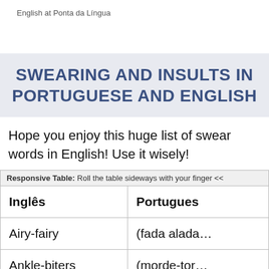English at Ponta da Língua
SWEARING AND INSULTS IN PORTUGUESE AND ENGLISH
Hope you enjoy this huge list of swear words in English! Use it wisely!
Responsive Table: Roll the table sideways with your finger <<
| Inglês | Português |
| --- | --- |
| Airy-fairy | (fada alada… |
| Ankle-biters | (morde-tor… |